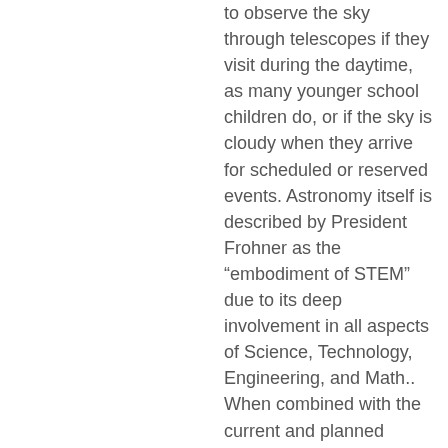to observe the sky through telescopes if they visit during the daytime, as many younger school children do, or if the sky is cloudy when they arrive for scheduled or reserved events. Astronomy itself is described by President Frohner as the “embodiment of STEM” due to its deep involvement in all aspects of Science, Technology, Engineering, and Math.. When combined with the current and planned interactive